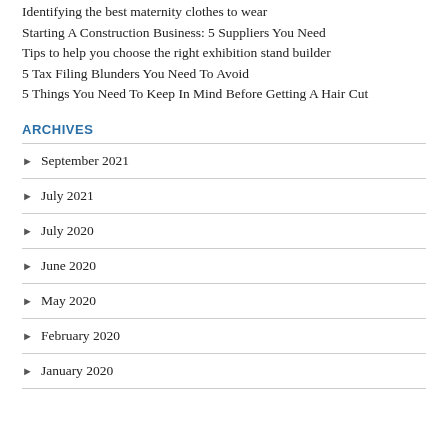Identifying the best maternity clothes to wear
Starting A Construction Business: 5 Suppliers You Need
Tips to help you choose the right exhibition stand builder
5 Tax Filing Blunders You Need To Avoid
5 Things You Need To Keep In Mind Before Getting A Hair Cut
ARCHIVES
September 2021
July 2021
July 2020
June 2020
May 2020
February 2020
January 2020